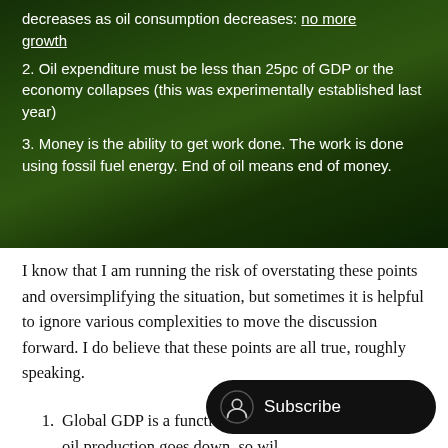[Figure (photo): Forest/jungle background image with white text overlaid showing numbered points about oil and GDP. Text visible: truncated top line about oil consumption decreases with 'no more growth' underlined; point 2 about oil expenditure and GDP; point 3 about money and fossil fuel energy.]
I know that I am running the risk of overstating these points and oversimplifying the situation, but sometimes it is helpful to ignore various complexities to move the discussion forward. I do believe that these points are all true, roughly speaking.
Global GDP is a function of oil c[onsumption. As] oil production goes down, so wil[l GDP. At] some point, the inability to invest in oil production